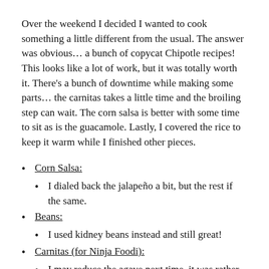Over the weekend I decided I wanted to cook something a little different from the usual. The answer was obvious… a bunch of copycat Chipotle recipes! This looks like a lot of work, but it was totally worth it. There's a bunch of downtime while making some parts… the carnitas takes a little time and the broiling step can wait. The corn salsa is better with some time to sit as is the guacamole. Lastly, I covered the rice to keep it warm while I finished other pieces.
Corn Salsa:
I dialed back the jalapeño a bit, but the rest if the same.
Beans:
I used kidney beans instead and still great!
Carnitas (for Ninja Foodi):
I may reduce the agave next time, it was rather